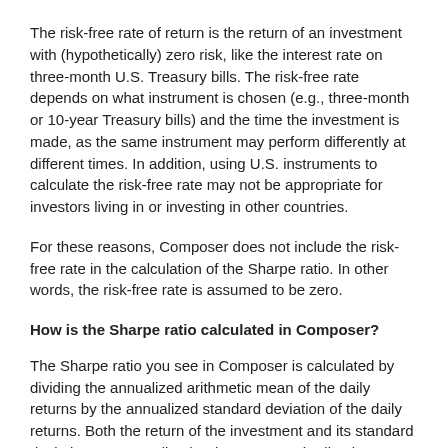The risk-free rate of return is the return of an investment with (hypothetically) zero risk, like the interest rate on three-month U.S. Treasury bills. The risk-free rate depends on what instrument is chosen (e.g., three-month or 10-year Treasury bills) and the time the investment is made, as the same instrument may perform differently at different times. In addition, using U.S. instruments to calculate the risk-free rate may not be appropriate for investors living in or investing in other countries.
For these reasons, Composer does not include the risk-free rate in the calculation of the Sharpe ratio. In other words, the risk-free rate is assumed to be zero.
How is the Sharpe ratio calculated in Composer?
The Sharpe ratio you see in Composer is calculated by dividing the annualized arithmetic mean of the daily returns by the annualized standard deviation of the daily returns. Both the return of the investment and its standard deviation are annualized -- they are standardized to a period of a year.